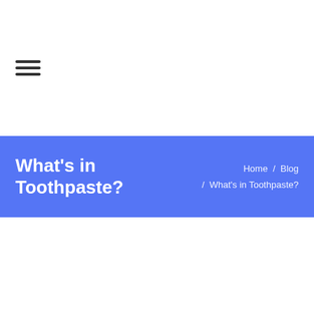[Figure (other): Hamburger menu icon with three horizontal lines]
What’s in Toothpaste?
Home / Blog / What’s in Toothpaste?